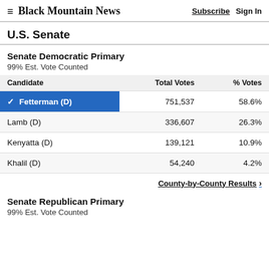Black Mountain News — Subscribe | Sign In
U.S. Senate
Senate Democratic Primary
99% Est. Vote Counted
| Candidate | Total Votes | % Votes |
| --- | --- | --- |
| ✓ Fetterman (D) | 751,537 | 58.6% |
| Lamb (D) | 336,607 | 26.3% |
| Kenyatta (D) | 139,121 | 10.9% |
| Khalil (D) | 54,240 | 4.2% |
County-by-County Results ›
Senate Republican Primary
99% Est. Vote Counted